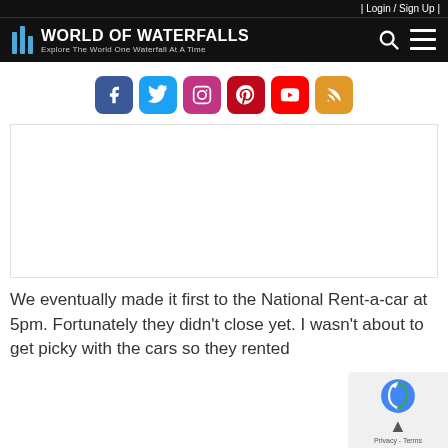| Login / Sign Up |
World of Waterfalls — Explore The World One Waterfall At A Time
[Figure (infographic): Six social media icon buttons in a row: Facebook (blue), Twitter (light blue), Instagram (pink/purple gradient), Pinterest (dark red), YouTube (red), RSS (orange)]
[Figure (other): Advertisement placeholder area (white rectangle with border)]
We eventually made it first to the National Rent-a-car at 5pm. Fortunately they didn't close yet. I wasn't about to get picky with the cars so they rented